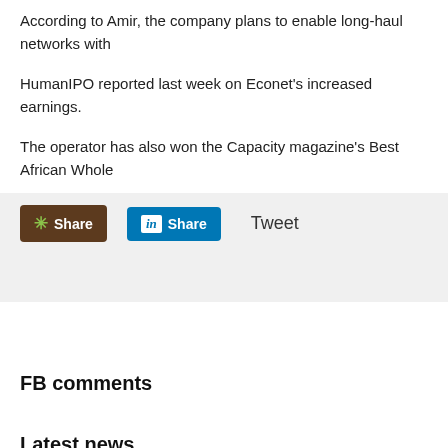According to Amir, the company plans to enable long-haul networks with
HumanIPO reported last week on Econet's increased earnings.
The operator has also won the Capacity magazine's Best African Whole
[Figure (other): Social sharing buttons: a dark Share button with green asterisk icon, a LinkedIn Share button in blue, and a Tweet text link]
FB comments
Latest news
NextSpeel is 100% protected from downloa